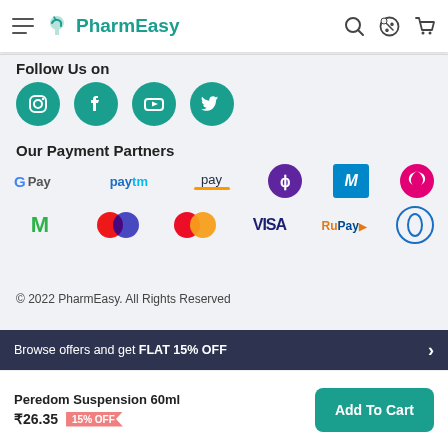PharmEasy
Follow Us on
[Figure (logo): Social media icons: Instagram, Facebook, YouTube, Twitter in teal circles]
Our Payment Partners
[Figure (logo): Payment partner logos: G Pay, Paytm, Amazon Pay, PhonePe, MOBIKWIK, Airtel, Mobikwik M, Maestro, Mastercard, VISA, RuPay, Diners Club]
© 2022 PharmEasy. All Rights Reserved
Browse offers and get FLAT 15% OFF
Peredom Suspension 60ml ₹26.35 15% OFF
Add To Cart